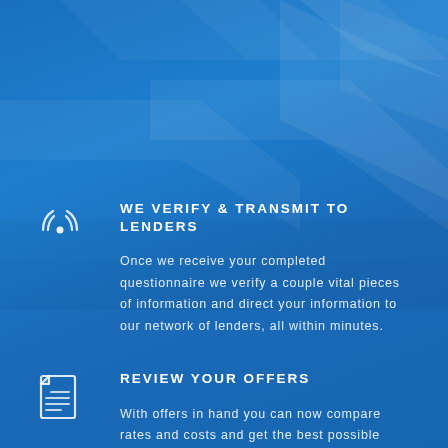[Figure (illustration): Decorative blue geometric background with diamond/chevron shapes]
[Figure (illustration): Wireless signal / broadcast icon: circle with radiating arcs and a dot in center]
WE VERIFY & TRANSMIT TO LENDERS
Once we receive your completed questionnaire we verify a couple vital pieces of information and direct your information to our network of lenders, all within minutes.
[Figure (illustration): Document/clipboard icon with lines representing text]
REVIEW YOUR OFFERS
With offers in hand you can now compare rates and costs and get the best possible deal. Comparison shopping made easy. You